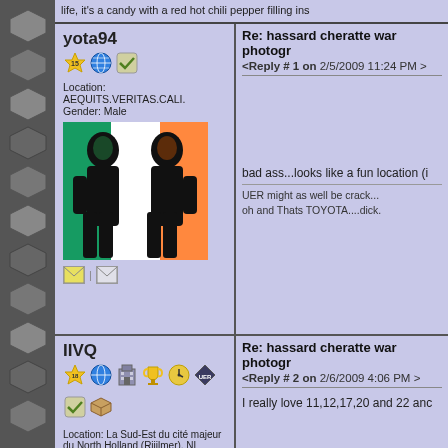life, it's a candy with a red hot chili pepper filling ins
Re: hassard cheratte war photogr
<Reply # 1 on 2/5/2009 11:24 PM >
yota94
Location: AEQUITS.VERITAS.CALI.
Gender: Male
[Figure (photo): Stylized image of two figures in black silhouette against an Irish flag (green, white, orange) background]
bad ass...looks like a fun location (i
UER might as well be crack...
oh and Thats TOYOTA....dick.
Re: hassard cheratte war photogr
<Reply # 2 on 2/6/2009 4:06 PM >
IIVQ
Location: La Sud-Est du cité majeur du North Holland (Rijilmer), NL
I really love 11,12,17,20 and 22 anc